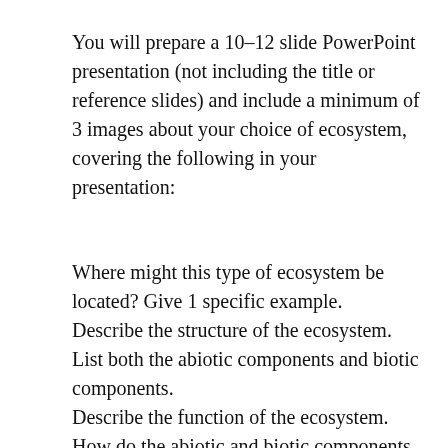You will prepare a 10-12 slide PowerPoint presentation (not including the title or reference slides) and include a minimum of 3 images about your choice of ecosystem, covering the following in your presentation:
Where might this type of ecosystem be located? Give 1 specific example.
Describe the structure of the ecosystem.
List both the abiotic components and biotic components.
Describe the function of the ecosystem.
How do the abiotic and biotic components interact in biogeochemical cycles?
Describe both the carbon and nitrogen cycles.